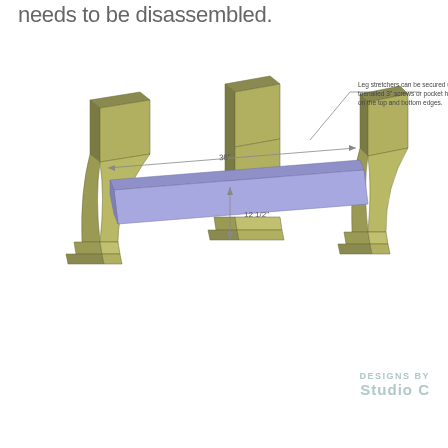needs to be disassembled.
[Figure (engineering-diagram): 3D illustration of a table base assembly showing two pedestal-style trestle legs connected by a horizontal leg stretcher (shown in blue/purple). Dimension annotations show 36" horizontal span and 12 1/2" vertical measurement. A callout note reads: 'Leg stretchers can be secured using toenailed 3" screws or pocket holes on the top and bottom edges.']
DESIGNS BY
Studio C